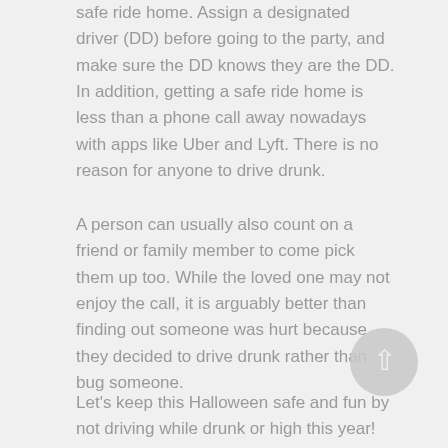safe ride home. Assign a designated driver (DD) before going to the party, and make sure the DD knows they are the DD. In addition, getting a safe ride home is less than a phone call away nowadays with apps like Uber and Lyft. There is no reason for anyone to drive drunk.
A person can usually also count on a friend or family member to come pick them up too. While the loved one may not enjoy the call, it is arguably better than finding out someone was hurt because they decided to drive drunk rather than bug someone.
Let's keep this Halloween safe and fun by not driving while drunk or high this year!